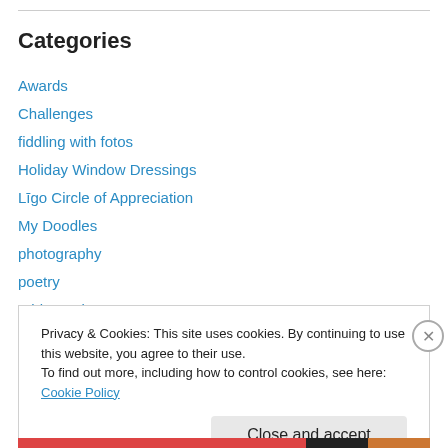Categories
Awards
Challenges
fiddling with fotos
Holiday Window Dressings
Līgo Circle of Appreciation
My Doodles
photography
poetry
reblogged
screenwriting
Privacy & Cookies: This site uses cookies. By continuing to use this website, you agree to their use.
To find out more, including how to control cookies, see here: Cookie Policy
Close and accept